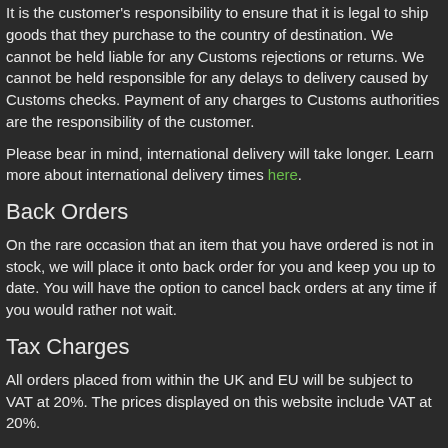It is the customer's responsibility to ensure that it is legal to ship goods that they purchase to the country of destination. We cannot be held liable for any Customs rejections or returns. We cannot be held responsible for any delays to delivery caused by Customs checks. Payment of any charges to Customs authorities are the responsibility of the customer.
Please bear in mind, international delivery will take longer. Learn more about international delivery times here.
Back Orders
On the rare occasion that an item that you have ordered is not in stock, we will place it onto back order for you and keep you up to date. You will have the option to cancel back orders at any time if you would rather not wait.
Tax Charges
All orders placed from within the UK and EU will be subject to VAT at 20%. The prices displayed on this website include VAT at 20%.
Changes to Pricing and Conditions
One Stop Grow Shop reserves the right to change the price of products, delivery charges and free delivery option thresholds at any time without